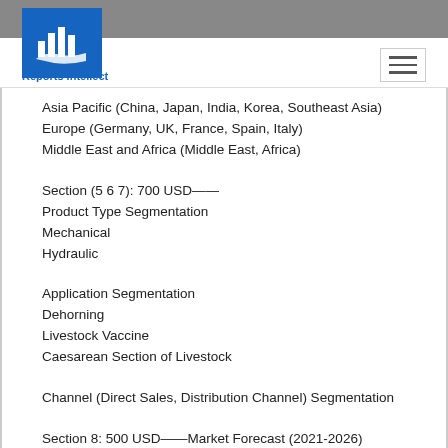Reports Intellect
Asia Pacific (China, Japan, India, Korea, Southeast Asia)
Europe (Germany, UK, France, Spain, Italy)
Middle East and Africa (Middle East, Africa)
Section (5 6 7): 700 USD——
Product Type Segmentation
Mechanical
Hydraulic
Application Segmentation
Dehorning
Livestock Vaccine
Caesarean Section of Livestock
Channel (Direct Sales, Distribution Channel) Segmentation
Section 8: 500 USD——Market Forecast (2021-2026)